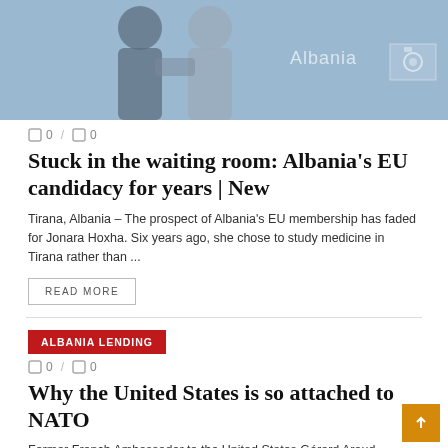[Figure (photo): Two men shaking hands on stage with blue background. Text 'Albania' visible on right side with a camera icon box.]
0 / 0
Stuck in the waiting room: Albania's EU candidacy for years | New
Tirana, Albania – The prospect of Albania's EU membership has faded for Jonara Hoxha. Six years ago, she chose to study medicine in Tirana rather than ...
READ MORE
ALBANIA LENDING
0 / 0
Why the United States is so attached to NATO
Former French Ambassador to the United States Gérard Araud described the